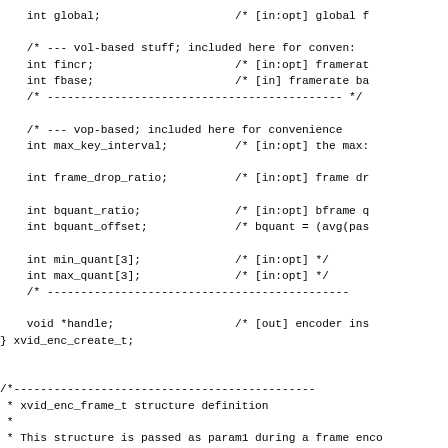int global;                         /* [in:opt] global f

    /* --- vol-based stuff; included here for conven:
    int fincr;                          /* [in:opt] framerat
    int fbase;                          /* [in] framerate ba
/* ------------------------------------------------ */

    /* --- vop-based; included here for convenience 
    int max_key_interval;          /* [in:opt] the max:

    int frame_drop_ratio;          /* [in:opt] frame dr

    int bquant_ratio;              /* [in:opt] bframe q
    int bquant_offset;             /* bquant = (avg(pas

    int min_quant[3];              /* [in:opt] */
    int max_quant[3];              /* [in:opt] */
    /* -----------------------------------------------

    void *handle;                  /* [out] encoder ins
} xvid_enc_create_t;


/*-----------------------------------------------
 * xvid_enc_frame_t structure definition
 *
 * This structure is passed as param1 during a frame enco
 * XVID_ENC_ENCODE)
 *-----------------------------------------------